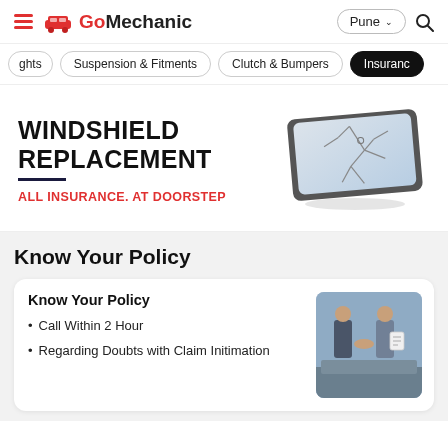GoMechanic — Pune
ghts | Suspension & Fitments | Clutch & Bumpers | Insurance
WINDSHIELD REPLACEMENT
ALL INSURANCE. AT DOORSTEP
Know Your Policy
Know Your Policy
Call Within 2 Hour
Regarding Doubts with Claim Initimation